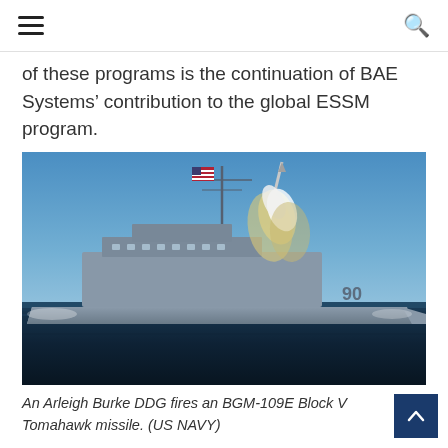≡  🔍
of these programs is the continuation of BAE Systems' contribution to the global ESSM program.
[Figure (photo): An Arleigh Burke DDG class destroyer (hull number 90) firing a BGM-109E Block V Tomahawk missile at sea, with the American flag visible on the mast and a large smoke plume from the missile launch against a blue sky.]
An Arleigh Burke DDG fires an BGM-109E Block V Tomahawk missile. (US NAVY)